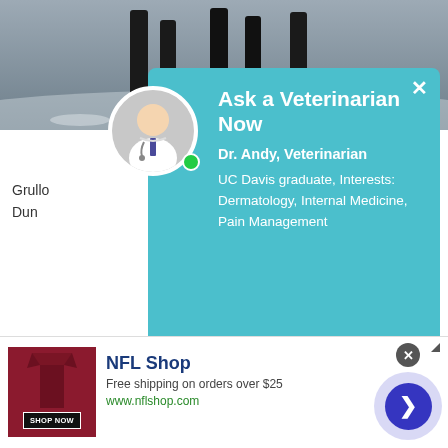[Figure (photo): Background photo showing horse legs in snow, partially visible behind popup overlay]
Grullo
Dun
[Figure (infographic): Popup dialog: Ask a Veterinarian Now - Dr. Andy, Veterinarian profile with avatar photo, online status indicator, and close button. UC Davis graduate, Interests: Dermatology, Internal Medicine, Pain Management]
Breed
Consid
ancien
Norwe
found
the Pr
[Figure (screenshot): NFL Shop advertisement banner. Free shipping on orders over $25. www.nflshop.com. SHOP NOW button. Close button and forward arrow navigation.]